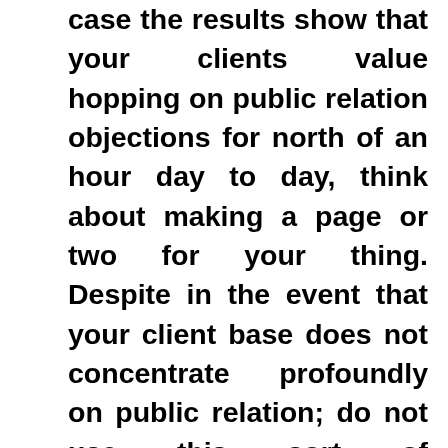case the results show that your clients value hopping on public relation objections for north of an hour day to day, think about making a page or two for your thing. Despite in the event that your client base does not concentrate profoundly on public relation; do not use this sort of publicizing; revolve around advertisements that will reach them. A respectable strategy to get people enthused about your specialty is to use public relation marketing to help a web-based